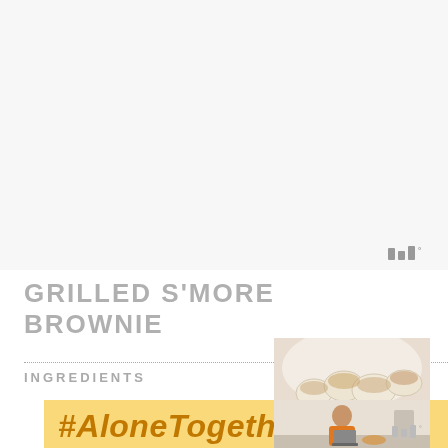[Figure (photo): Large light/white background area occupying top portion of page]
[Figure (logo): Small logo mark consisting of vertical bars with degree symbol, top right area]
GRILLED S'MORE BROWNIE
[Figure (photo): Photo of toasted marshmallows, brownie s'more style, bottom right]
INGREDIENTS
[Figure (infographic): Yellow banner with #AloneTogether hashtag text in orange italic bold]
[Figure (photo): Small photo of woman at laptop in kitchen, with close X buttons, bottom right]
[Figure (logo): Small logo mark bottom right of ad unit]